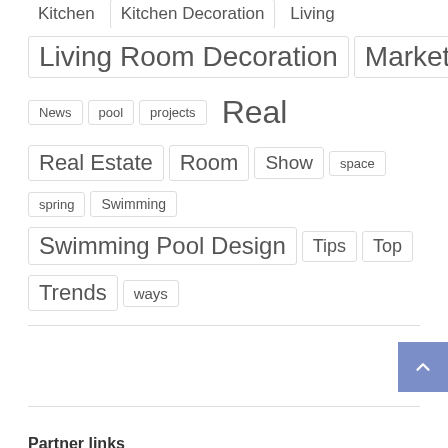Kitchen  Kitchen Decoration  Living
Living Room Decoration  Market
News  pool  projects  Real
Real Estate  Room  Show  space
spring  Swimming
Swimming Pool Design  Tips  Top
Trends  ways
Partner links